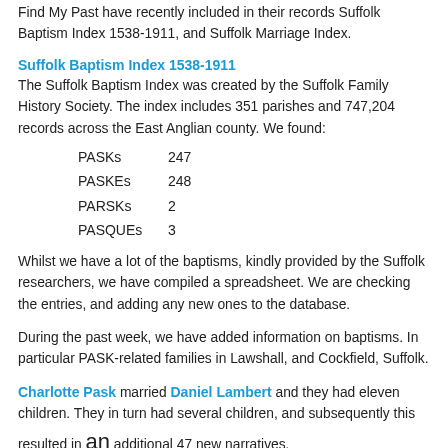Find My Past have recently included in their records Suffolk Baptism Index 1538-1911, and Suffolk Marriage Index.
Suffolk Baptism Index 1538-1911
The Suffolk Baptism Index was created by the Suffolk Family History Society. The index includes 351 parishes and 747,204 records across the East Anglian county. We found:
PASKs   247
PASKEs  248
PARSKs    2
PASQUEs   3
Whilst we have a lot of the baptisms, kindly provided by the Suffolk researchers, we have compiled a spreadsheet. We are checking the entries, and adding any new ones to the database.
During the past week, we have added information on baptisms. In particular PASK-related families in Lawshall, and Cockfield, Suffolk.
Charlotte Pask married Daniel Lambert and they had eleven children. They in turn had several children, and subsequently this resulted in an additional 47 new narratives.